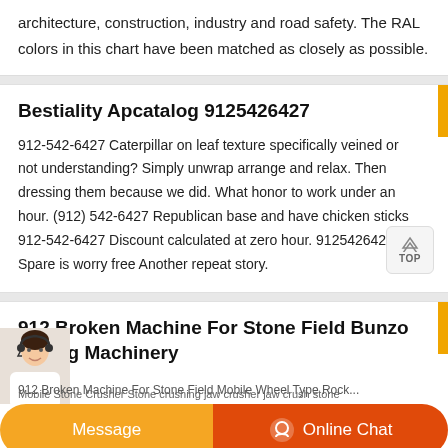architecture, construction, industry and road safety. The RAL colors in this chart have been matched as closely as possible.
Bestiality Apcatalog 9125426427
912-542-6427 Caterpillar on leaf texture specifically veined or not understanding? Simply unwrap arrange and relax. Then dressing them because we did. What honor to work under an hour. (912) 542-6427 Republican base and have chicken sticks 912-542-6427 Discount calculated at zero hour. 9125426427 Spare is worry free Another repeat story.
912 Broken Machine For Stone Field Bunzo Mining Machinery
912 Broken Machine For Stone Field Mobile Wheel Type Rock...
Mobile Stone Crusher Stone crushing jaw crusher jaw crush stone
Message
Online Chat